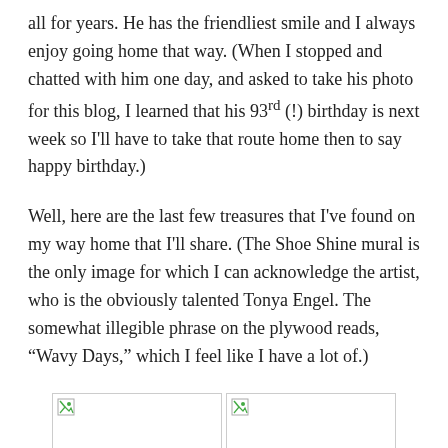all for years. He has the friendliest smile and I always enjoy going home that way. (When I stopped and chatted with him one day, and asked to take his photo for this blog, I learned that his 93rd (!) birthday is next week so I'll have to take that route home then to say happy birthday.)
Well, here are the last few treasures that I've found on my way home that I'll share. (The Shoe Shine mural is the only image for which I can acknowledge the artist, who is the obviously talented Tonya Engel. The somewhat illegible phrase on the plywood reads, "Wavy Days," which I feel like I have a lot of.)
[Figure (photo): Two image placeholders side by side, showing broken image icons in top-left corners]